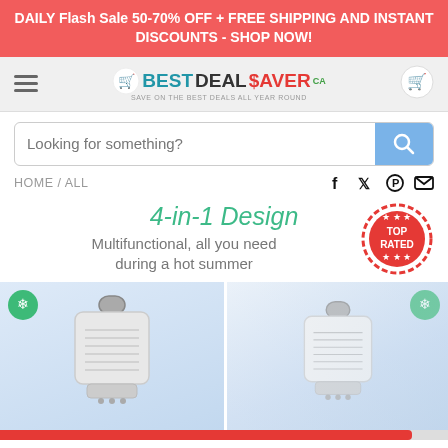DAILY Flash Sale 50-70% OFF + FREE SHIPPING AND INSTANT DISCOUNTS - SHOP NOW!
[Figure (logo): BestDealSaver logo with shopping cart icon, hamburger menu, and cart icon]
[Figure (other): Search bar with placeholder text 'Looking for something?' and blue search button]
HOME / ALL
4-in-1 Design
Multifunctional, all you need during a hot summer
[Figure (photo): Two portable evaporative air cooler/fan units side by side with green snowflake badges and TOP RATED stamp]
Hurry: Only 9 Left.
+ Add To Cart
+ Buy Now